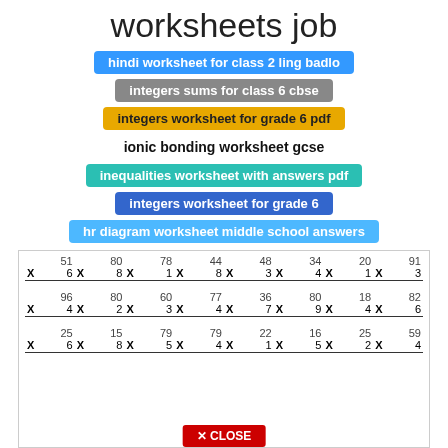worksheets job
hindi worksheet for class 2 ling badlo
integers sums for class 6 cbse
integers worksheet for grade 6 pdf
ionic bonding worksheet gcse
inequalities worksheet with answers pdf
integers worksheet for grade 6
hr diagram worksheet middle school answers
[Figure (other): A multiplication worksheet showing three rows of 8 multiplication problems each. Row 1: 51×6, 80×8, 78×1, 44×8, 48×3, 34×4, 20×1, 91×3. Row 2: 96×4, 80×2, 60×3, 77×4, 36×7, 80×9, 18×4, 82×6. Row 3: 25×6, 15×8, 79×5, 79×4, 22×1, 16×5, 25×2, 59×4.]